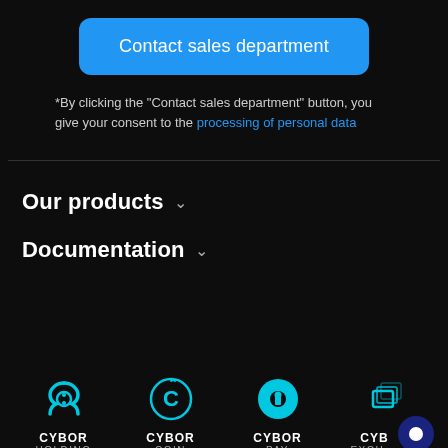Contact sales department
*By clicking the "Contact sales department" button, you give your consent to the processing of personal data
Our products
Documentation
[Figure (logo): Cybor Holding logo - teal interlocked rings icon with CYBOR HOLDING text]
[Figure (logo): Cybor Coin logo - teal C letter icon with CYBOR COIN text]
[Figure (logo): Cybor Pay logo - teal P circle icon with CYBOR PAY text]
[Figure (logo): Cybor Exchange logo - teal layered squares icon with CYBOR EXCH text (partially visible)]